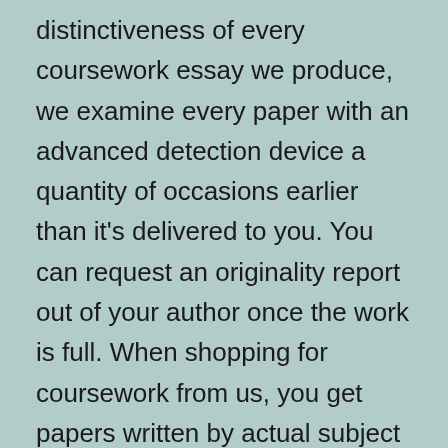distinctiveness of every coursework essay we produce, we examine every paper with an advanced detection device a quantity of occasions earlier than it's delivered to you. You can request an originality report out of your author once the work is full. When shopping for coursework from us, you get papers written by actual subject consultants with years of instructional writing expertise.
We do not end our cooperation with purchasers once their coursework is written. Rather, we offer three free changes to make sure they're completely satisfied with their